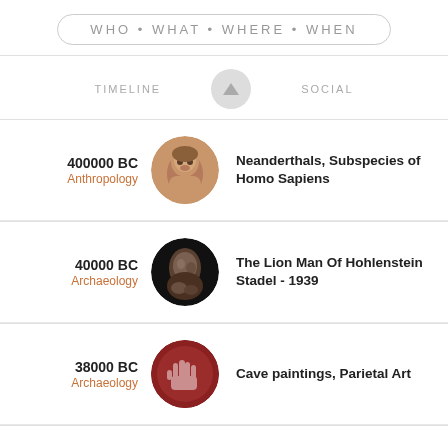WHO • WHAT • WHERE • WHEN
TIMELINE   SOCIAL
400000 BC
Anthropology
Neanderthals, Subspecies of Homo Sapiens
40000 BC
Archaeology
The Lion Man Of Hohlenstein Stadel - 1939
38000 BC
Archaeology
Cave paintings, Parietal Art
20000 BC
Archaeology
Ishango Bone, Mathematical Tool - 1960